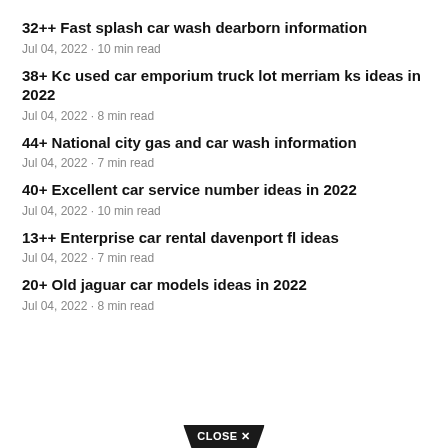32++ Fast splash car wash dearborn information
Jul 04, 2022 · 10 min read
38+ Kc used car emporium truck lot merriam ks ideas in 2022
Jul 04, 2022 · 8 min read
44+ National city gas and car wash information
Jul 04, 2022 · 7 min read
40+ Excellent car service number ideas in 2022
Jul 04, 2022 · 10 min read
13++ Enterprise car rental davenport fl ideas
Jul 04, 2022 · 7 min read
20+ Old jaguar car models ideas in 2022
Jul 04, 2022 · 8 min read